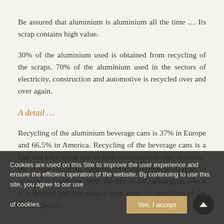Be assured that aluminium is aluminium all the time … Its scrap contains high value.
30% of the aluminium used is obtained from recycling of the scraps. 70% of the aluminium used in the sectors of electricity, construction and automotive is recycled over and over again.
A detail …
Recycling of the aluminium beverage cans is 37% in Europe and 66.5% in America. Recycling of the beverage cans is a fast and easy cycle due to their consumption rate; however, the service life of an aluminium facade system is 50 years in average in buildings. With the life of the building on which it is applied and you should long years for recycling of the facade profile.
Cookies are used on this Site to improve the user experience and ensure the efficient operation of the website. By continuing to use this site, you agree to our use of cookies.